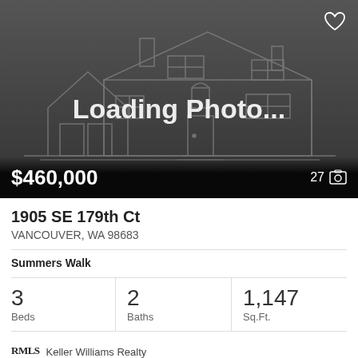[Figure (photo): Loading Photo placeholder with house outline illustration on dark grey background, showing '$460,000' price bottom left and '27' photo count with camera icon bottom right, and a heart icon top right.]
1905 SE 179th Ct
VANCOUVER, WA 98683
Summers Walk
3 Beds
2 Baths
1,147 Sq.Ft.
RMLS  Keller Williams Realty